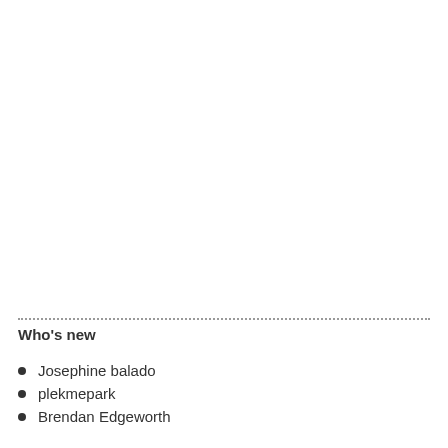Who's new
Josephine balado
plekmepark
Brendan Edgeworth